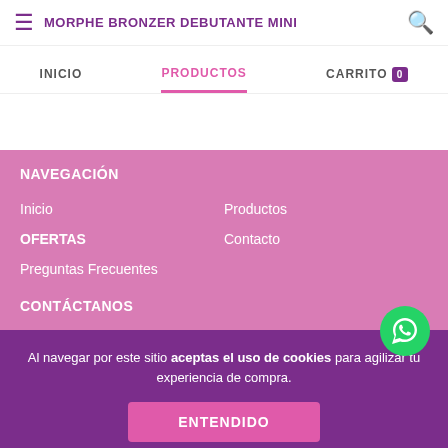MORPHE BRONZER DEBUTANTE MINI
INICIO
PRODUCTOS
CARRITO 0
NAVEGACIÓN
Inicio
Productos
OFERTAS
Contacto
Preguntas Frecuentes
CONTÁCTANOS
Al navegar por este sitio aceptas el uso de cookies para agilizar tu experiencia de compra.
ENTENDIDO